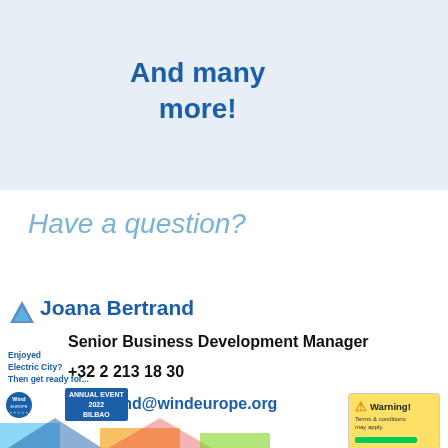And many more!
Have a question?
Joana Bertrand
Senior Business Development Manager
+32 2 213 18 30
j.bertrand@windeurope.org
Enjoyed Electric City? Then get ready for... WindEurope Annual Event 2022 Bilbao
[Figure (logo): WindEurope logo with Annual Event 2022 Bilbao badge]
[Figure (infographic): Warning box with yellow background, warning triangle icon, 'Warning!' title text, description text, and a green bar at bottom]